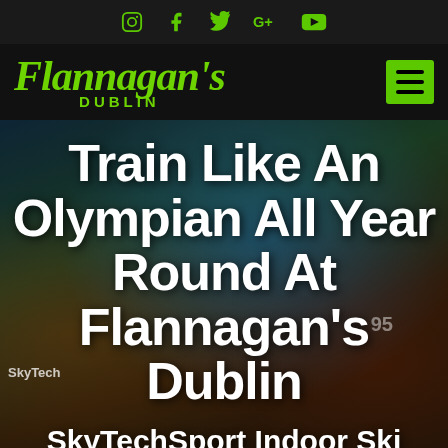Social icons: Instagram, Facebook, Twitter, Google+, YouTube
Flannagan's DUBLIN
[Figure (screenshot): Hero background image showing a ski slope scene with skier, trees, and colorful promotional banners including SkyTech branding]
Train Like An Olympian All Year Round At Flannagan's Dublin
SkyTechSport Indoor Ski Simulator